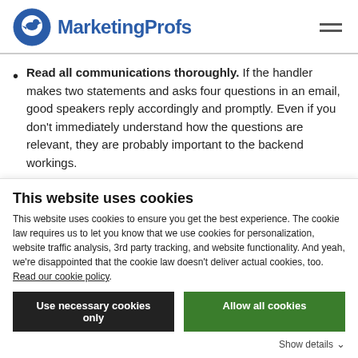MarketingProfs
Read all communications thoroughly. If the handler makes two statements and asks four questions in an email, good speakers reply accordingly and promptly. Even if you don't immediately understand how the questions are relevant, they are probably important to the backend workings.
This website uses cookies
This website uses cookies to ensure you get the best experience. The cookie law requires us to let you know that we use cookies for personalization, website traffic analysis, 3rd party tracking, and website functionality. And yeah, we're disappointed that the cookie law doesn't deliver actual cookies, too. Read our cookie policy.
Use necessary cookies only
Allow all cookies
Show details